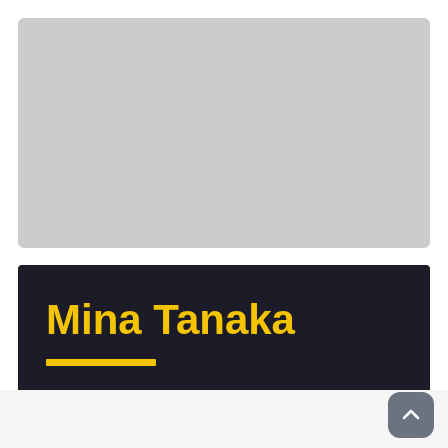[Figure (photo): Gray placeholder image area representing a profile photo]
Mina Tanaka
Luger